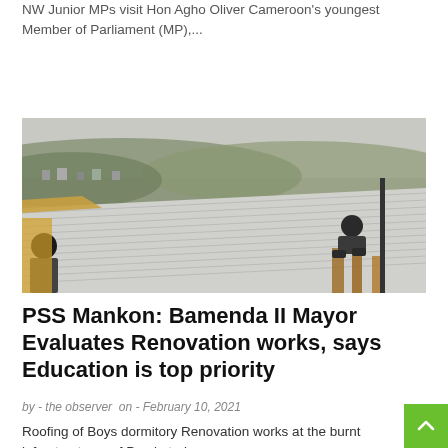NW Junior MPs visit Hon Agho Oliver Cameroon's youngest Member of Parliament (MP),...
Read more
[Figure (photo): Workers roofing a building; a person crouches on a corrugated metal roof under construction, with a hilly town and misty landscape visible in the background.]
PSS Mankon: Bamenda II Mayor Evaluates Renovation works, says Education is top priority
by - the observer  on - February 10, 2021
Roofing of Boys dormitory Renovation works at the burnt infrastructures of Presbyteria...